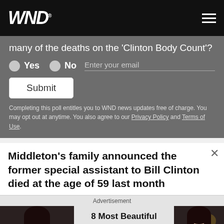WND
many of the deaths on the 'Clinton Body Count'?
Yes  No  Enter your email
Submit
Completing this poll entitles you to WND news updates free of charge. You may opt out at anytime. You also agree to our Privacy Policy and Terms of Use.
Middleton's family announced the former special assistant to Bill Clinton died at the age of 59 last month
Advertisement
8 Most Beautiful Modern Chinese Actresses
Brainberries